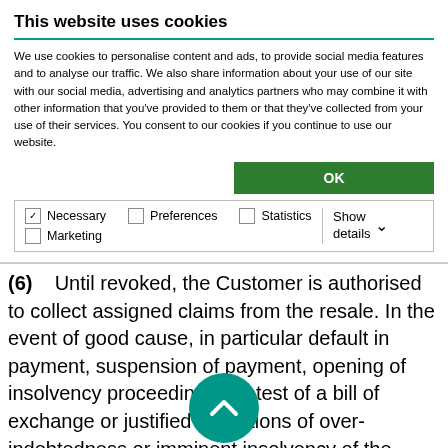This website uses cookies
We use cookies to personalise content and ads, to provide social media features and to analyse our traffic. We also share information about your use of our site with our social media, advertising and analytics partners who may combine it with other information that you've provided to them or that they've collected from your use of their services. You consent to our cookies if you continue to use our website.
OK
Necessary  Preferences  Statistics  Marketing  Show details
(6)    Until revoked, the Customer is authorised to collect assigned claims from the resale. In the event of good cause, in particular default in payment, suspension of payment, opening of insolvency proceedings, protest of a bill of exchange or justified indications of over-indebtedness or imminent insolvency of the Customer, we shall be entitled to revoke the Customer's authorisation to collect. In addition, we may, after prior warning and observance of a reasonable period of time, disclose the assignment by way of security,